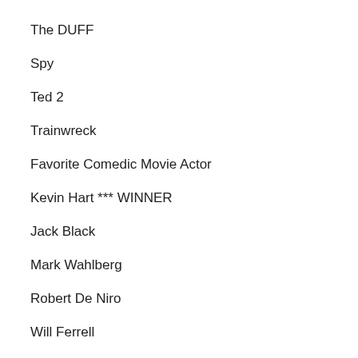The DUFF
Spy
Ted 2
Trainwreck
Favorite Comedic Movie Actor
Kevin Hart *** WINNER
Jack Black
Mark Wahlberg
Robert De Niro
Will Ferrell